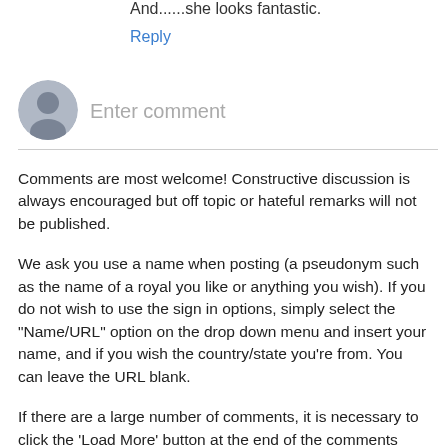And......she looks fantastic.
Reply
[Figure (illustration): Gray avatar/profile icon circle for comment input]
Enter comment
Comments are most welcome! Constructive discussion is always encouraged but off topic or hateful remarks will not be published.
We ask you use a name when posting (a pseudonym such as the name of a royal you like or anything you wish). If you do not wish to use the sign in options, simply select the "Name/URL" option on the drop down menu and insert your name, and if you wish the country/state you're from. You can leave the URL blank.
If there are a large number of comments, it is necessary to click the 'Load More' button at the end of the comments section to see the latest